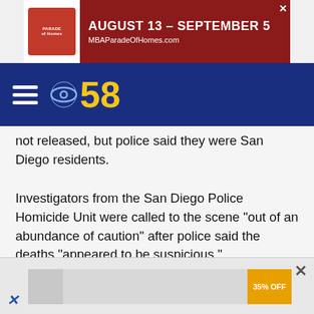[Figure (screenshot): Parade of Homes advertisement banner: August 13 - September 5, MBAParadeOfHomes.com, dark red background with white text]
[Figure (logo): CBS 58 navigation bar with hamburger menu and CBS eye logo with yellow '58' text on dark blue background]
not released, but police said they were San Diego residents.
Investigators from the San Diego Police Homicide Unit were called to the scene "out of an abundance of caution" after police said the deaths "appeared to be suspicious."
Investigators are looking for evidence and possible witnesses, and they are hoping to speak with people who were present when the fall happened, according to the statement.
[Figure (screenshot): Bottom advertisement bar with 35% OFF badge and close button]